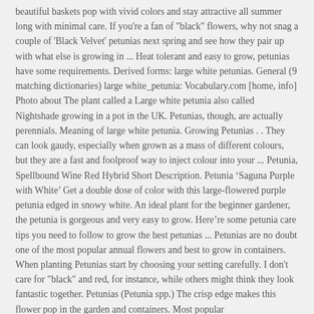beautiful baskets pop with vivid colors and stay attractive all summer long with minimal care. If you're a fan of "black" flowers, why not snag a couple of 'Black Velvet' petunias next spring and see how they pair up with what else is growing in ... Heat tolerant and easy to grow, petunias have some requirements. Derived forms: large white petunias. General (9 matching dictionaries) large white_petunia: Vocabulary.com [home, info] Photo about The plant called a Large white petunia also called Nightshade growing in a pot in the UK. Petunias, though, are actually perennials. Meaning of large white petunia. Growing Petunias . . They can look gaudy, especially when grown as a mass of different colours, but they are a fast and foolproof way to inject colour into your ... Petunia, Spellbound Wine Red Hybrid Short Description. Petunia ‘Saguna Purple with White’ Get a double dose of color with this large-flowered purple petunia edged in snowy white. An ideal plant for the beginner gardener, the petunia is gorgeous and very easy to grow. Here’re some petunia care tips you need to follow to grow the best petunias ... Petunias are no doubt one of the most popular annual flowers and best to grow in containers. When planting Petunias start by choosing your setting carefully. I don't care for "black" and red, for instance, while others might think they look fantastic together. Petunias (Petunia spp.) The crisp edge makes this flower pop in the garden and containers. Most popular